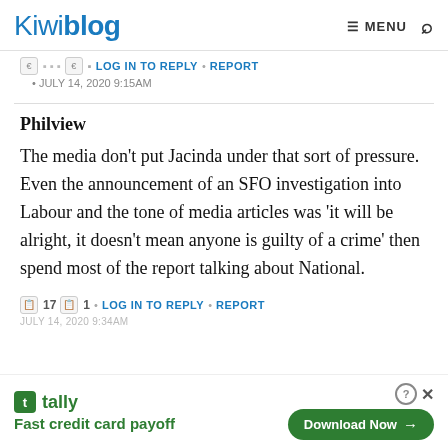Kiwiblog  ≡ MENU 🔍
• JULY 14, 2020 9:15AM
Philview
The media don't put Jacinda under that sort of pressure. Even the announcement of an SFO investigation into Labour and the tone of media articles was 'it will be alright, it doesn't mean anyone is guilty of a crime' then spend most of the report talking about National.
17  1  •  LOG IN TO REPLY  •  REPORT
tally  Fast credit card payoff  Download Now →